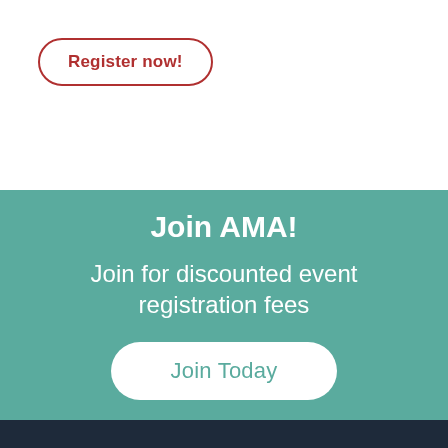Register now!
Join AMA!
Join for discounted event registration fees
Join Today